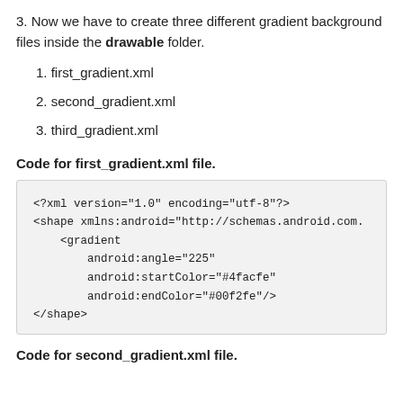3. Now we have to create three different gradient background files inside the drawable folder.
1. first_gradient.xml
2. second_gradient.xml
3. third_gradient.xml
Code for first_gradient.xml file.
<?xml version="1.0" encoding="utf-8"?>
<shape xmlns:android="http://schemas.android.com.
    <gradient
        android:angle="225"
        android:startColor="#4facfe"
        android:endColor="#00f2fe"/>
</shape>
Code for second_gradient.xml file.